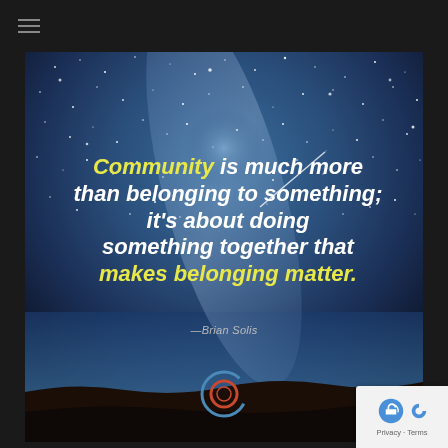≡
[Figure (illustration): Starry night sky background with Milky Way galaxy visible, dark landscape silhouette at bottom, gradient from dark navy/black at top to blue/teal in middle and warm brown/orange at horizon]
Community is much more than belonging to something; it's about doing something together that makes belonging matter.
—Brian Solis
[Figure (logo): Circular logo with red/orange inner circle and blue/teal outer arc, resembling a stylized letter O or globe]